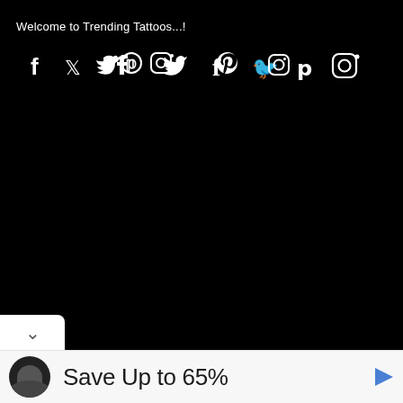Welcome to Trending Tattoos...!
[Figure (other): Social media icons: Facebook (f), Twitter (bird), Pinterest (P), Instagram (camera) displayed as white symbols on black background]
Save Up to 65%